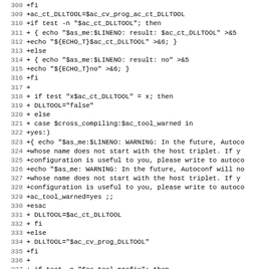[Figure (screenshot): Code diff/patch view showing shell script lines 308-339 with line numbers and '+' prefixed lines indicating additions. Monospace font on white background. Content includes autoconf shell script for DLLTOOL configuration.]